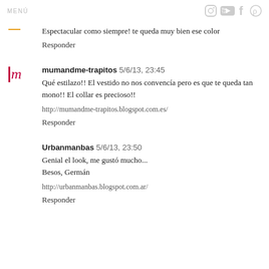MENÚ
Espectacular como siempre! te queda muy bien ese color
Responder
mumandme-trapitos  5/6/13, 23:45
Qué estilazo!! El vestido no nos convencía pero es que te queda tan mono!! El collar es precioso!!
http://mumandme-trapitos.blogspot.com.es/
Responder
Urbanmanbas  5/6/13, 23:50
Genial el look, me gustó mucho...
Besos, Germán
http://urbanmanbas.blogspot.com.ar/
Responder